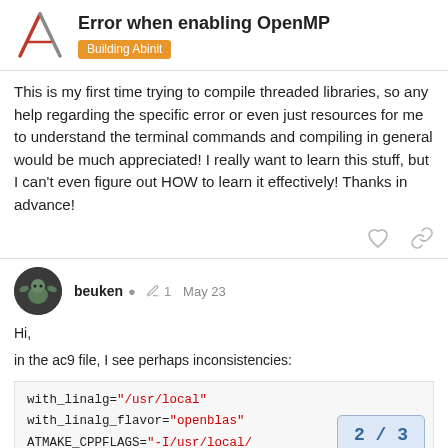Error when enabling OpenMP
Building Abinit
This is my first time trying to compile threaded libraries, so any help regarding the specific error or even just resources for me to understand the terminal commands and compiling in general would be much appreciated! I really want to learn this stuff, but I can't even figure out HOW to learn it effectively! Thanks in advance!
beuken  1  May 23
Hi,
in the ac9 file, I see perhaps inconsistencies:
with_linalg="/usr/local"
with_linalg_flavor="openblas"
ATMAKE_CPPFLAGS="-I/usr/local/
2 / 3